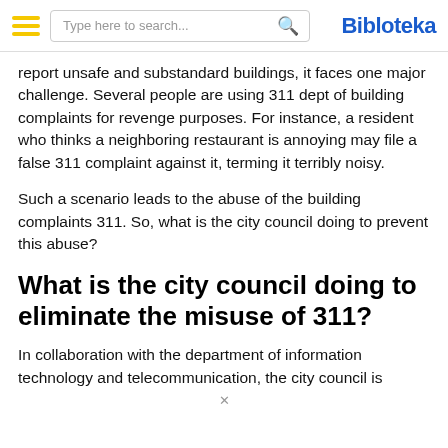Bibloteka
report unsafe and substandard buildings, it faces one major challenge. Several people are using 311 dept of building complaints for revenge purposes. For instance, a resident who thinks a neighboring restaurant is annoying may file a false 311 complaint against it, terming it terribly noisy.
Such a scenario leads to the abuse of the building complaints 311. So, what is the city council doing to prevent this abuse?
What is the city council doing to eliminate the misuse of 311?
In collaboration with the department of information technology and telecommunication, the city council is